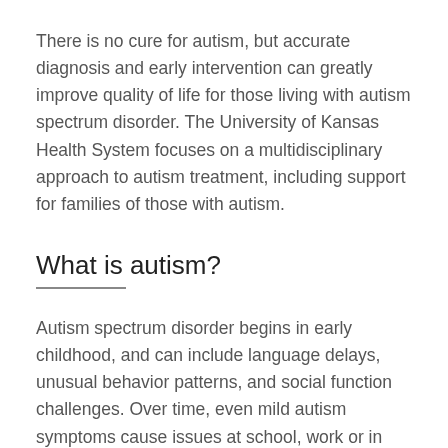There is no cure for autism, but accurate diagnosis and early intervention can greatly improve quality of life for those living with autism spectrum disorder. The University of Kansas Health System focuses on a multidisciplinary approach to autism treatment, including support for families of those with autism.
What is autism?
Autism spectrum disorder begins in early childhood, and can include language delays, unusual behavior patterns, and social function challenges. Over time, even mild autism symptoms cause issues at school, work or in personal relationships.
More content continues below childhood...